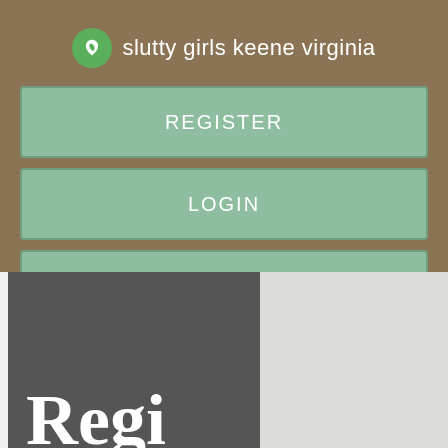slutty girls keene virginia
REGISTER
LOGIN
CONTACT US
[Figure (screenshot): Bottom section of a mobile app screenshot showing a dark grey panel on the left with partial text 'Regi' in large white serif font, and a light grey panel on the right.]